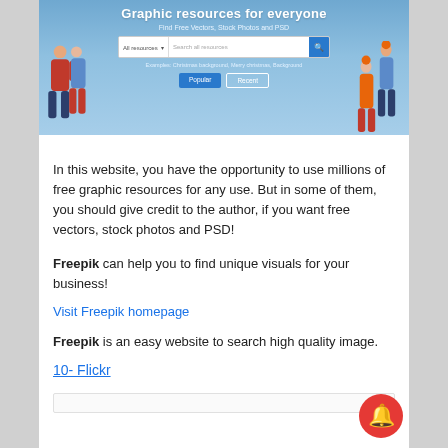[Figure (screenshot): Freepik website homepage screenshot showing 'Graphic resources for everyone' headline, search bar, and illustrated people figures on a blue background with Popular and Recent buttons]
In this website, you have the opportunity to use millions of free graphic resources for any use. But in some of them, you should give credit to the author, if you want free vectors, stock photos and PSD!
Freepik can help you to find unique visuals for your business!
Visit Freepik homepage
Freepik is an easy website to search high quality image.
10- Flickr